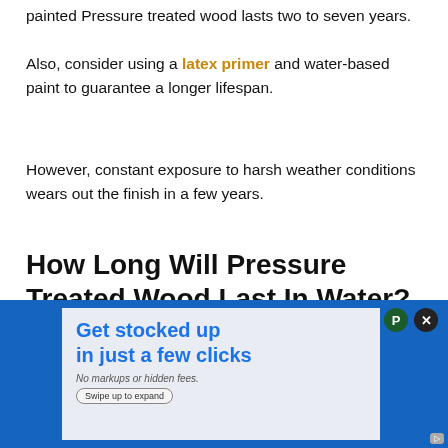painted Pressure treated wood lasts two to seven years.
Also, consider using a latex primer and water-based paint to guarantee a longer lifespan.
However, constant exposure to harsh weather conditions wears out the finish in a few years.
How Long Will Pressure Treated Wood Last In Water?
Pressure treated wood delivers a longer lifespan than untreated lumber.
[Figure (other): Advertisement banner: 'Get stocked up in just a few clicks. No markups or hidden fees.' with a Swipe up to expand button, close button, and blue background.]